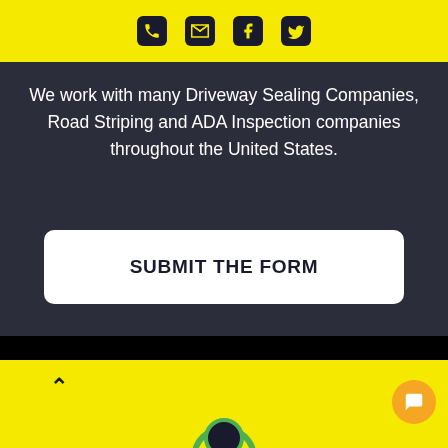[Figure (other): Yellow header bar with four social/contact icons: phone, email, Facebook, Twitter]
We work with many Driveway Sealing Companies, Road Striping and ADA Inspection companies throughout the United States.
SUBMIT THE FORM
[Figure (other): Black rectangular section below the dark area]
[Figure (other): Yellow footer bar with chevron up arrow on left and orange chat bubble button on right, and partial green circular logo at bottom center]